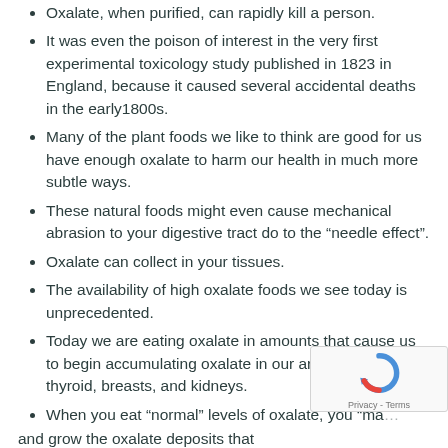Oxalate, when purified, can rapidly kill a person.
It was even the poison of interest in the very first experimental toxicology study published in 1823 in England, because it caused several accidental deaths in the early1800s.
Many of the plant foods we like to think are good for us have enough oxalate to harm our health in much more subtle ways.
These natural foods might even cause mechanical abrasion to your digestive tract do to the “needle effect”.
Oxalate can collect in your tissues.
The availability of high oxalate foods we see today is unprecedented.
Today we are eating oxalate in amounts that cause us to begin accumulating oxalate in our arteries, bo… thyroid, breasts, and kidneys.
When you eat “normal” levels of oxalate, you “ma… and grow the oxalate deposits that have already started…